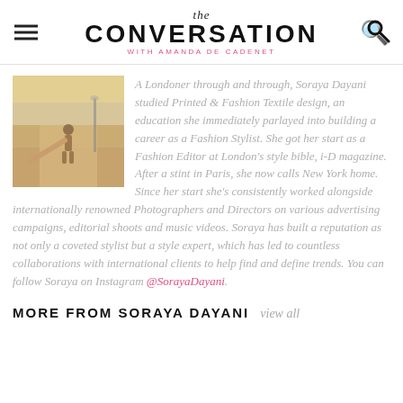the CONVERSATION with AMANDA DE CADENET
[Figure (photo): Photo of a person on a sunny beach boardwalk, viewed from behind, warm golden tones]
A Londoner through and through, Soraya Dayani studied Printed & Fashion Textile design, an education she immediately parlayed into building a career as a Fashion Stylist. She got her start as a Fashion Editor at London's style bible, i-D magazine. After a stint in Paris, she now calls New York home. Since her start she's consistently worked alongside internationally renowned Photographers and Directors on various advertising campaigns, editorial shoots and music videos. Soraya has built a reputation as not only a coveted stylist but a style expert, which has led to countless collaborations with international clients to help find and define trends. You can follow Soraya on Instagram @SorayaDayani.
MORE FROM SORAYA DAYANI  view all